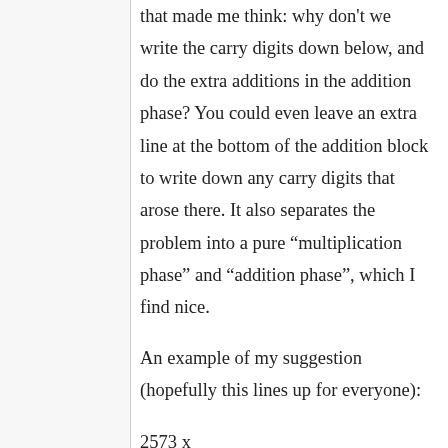that made me think: why don’t we write the carry digits down below, and do the extra additions in the addition phase? You could even leave an extra line at the bottom of the addition block to write down any carry digits that arose there. It also separates the problem into a pure “multiplication phase” and “addition phase”, which I find nice.
An example of my suggestion (hopefully this lines up for everyone):
2573 x
389
————